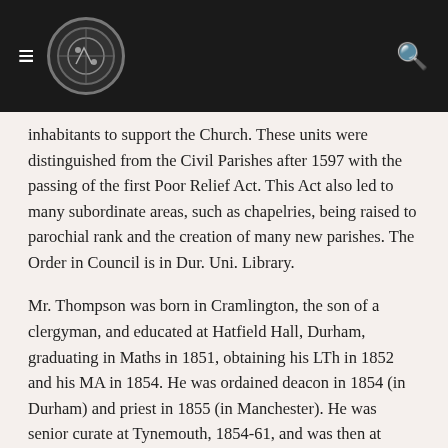[navigation header with hamburger menu, logo, and search icon]
inhabitants to support the Church. These units were distinguished from the Civil Parishes after 1597 with the passing of the first Poor Relief Act. This Act also led to many subordinate areas, such as chapelries, being raised to parochial rank and the creation of many new parishes. The Order in Council is in Dur. Uni. Library.
Mr. Thompson was born in Cramlington, the son of a clergyman, and educated at Hatfield Hall, Durham, graduating in Maths in 1851, obtaining his LTh in 1852 and his MA in 1854. He was ordained deacon in 1854 (in Durham) and priest in 1855 (in Manchester). He was senior curate at Tynemouth, 1854-61, and was then at Alston, Cumberland (1861-62) and St. Paul's, Darlington (1862-65) before moving to Quarrington. He remained vicar till his death on 20 March 1902.